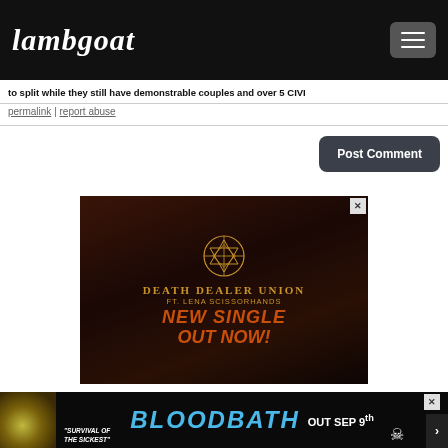Lambgoat
to split while they still have demonstrable couples and over 5 CIVI
permalink | report abuse
Post Comment
[Figure (photo): Death Dealer Union ft. Lena Scissorhands new single out now advertisement with dark atmospheric background and golden occult symbol]
[Figure (photo): Bloodbath Survival of the Sickest out Sep 9th advertisement banner]